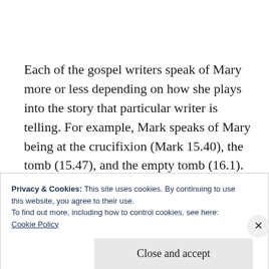Each of the gospel writers speak of Mary more or less depending on how she plays into the story that particular writer is telling. For example, Mark speaks of Mary being at the crucifixion (Mark 15.40), the tomb (15.47), and the empty tomb (16.1). Thus Mary becomes a
Privacy & Cookies: This site uses cookies. By continuing to use this website, you agree to their use.
To find out more, including how to control cookies, see here:
Cookie Policy
Close and accept